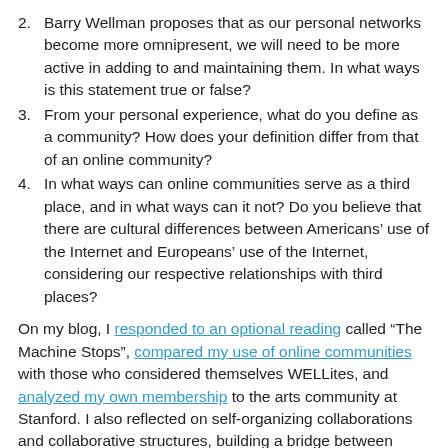2. Barry Wellman proposes that as our personal networks become more omnipresent, we will need to be more active in adding to and maintaining them. In what ways is this statement true or false?
3. From your personal experience, what do you define as a community? How does your definition differ from that of an online community?
4. In what ways can online communities serve as a third place, and in what ways can it not? Do you believe that there are cultural differences between Americans’ use of the Internet and Europeans’ use of the Internet, considering our respective relationships with third places?
On my blog, I responded to an optional reading called “The Machine Stops”, compared my use of online communities with those who considered themselves WELLites, and analyzed my own membership to the arts community at Stanford. I also reflected on self-organizing collaborations and collaborative structures, building a bridge between face-to-face...